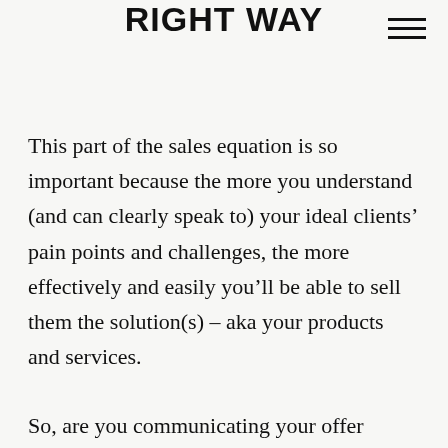RIGHT WAY
This part of the sales equation is so important because the more you understand (and can clearly speak to) your ideal clients’ pain points and challenges, the more effectively and easily you’ll be able to sell them the solution(s) – aka your products and services.
So, are you communicating your offer